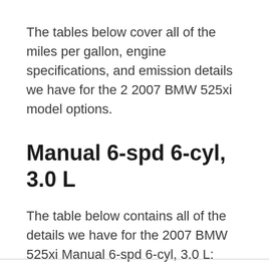The tables below cover all of the miles per gallon, engine specifications, and emission details we have for the 2 2007 BMW 525xi model options.
Manual 6-spd 6-cyl, 3.0 L
The table below contains all of the details we have for the 2007 BMW 525xi Manual 6-spd 6-cyl, 3.0 L: